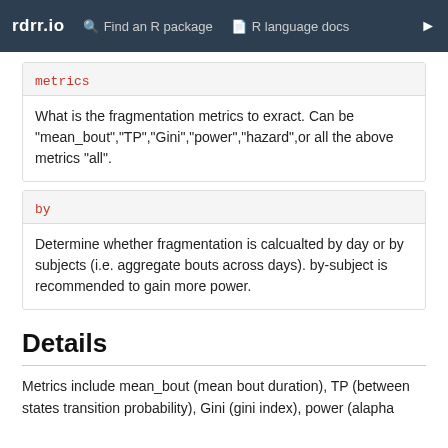rdrr.io   Find an R package   R language docs
metrics
What is the fragmentation metrics to exract. Can be "mean_bout","TP","Gini","power","hazard",or all the above metrics "all".
by
Determine whether fragmentation is calcualted by day or by subjects (i.e. aggregate bouts across days). by-subject is recommended to gain more power.
Details
Metrics include mean_bout (mean bout duration), TP (between states transition probability), Gini (gini index), power (alapha